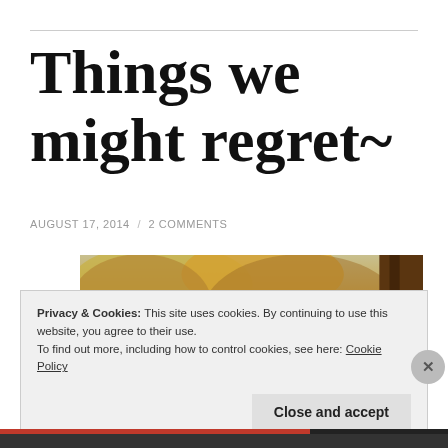Things we might regret~
AUGUST 17, 2014 / 2 COMMENTS
[Figure (photo): Outdoor autumn scene photo, partially visible, showing warm golden-orange foliage and a dark tree trunk on the right side.]
Privacy & Cookies: This site uses cookies. By continuing to use this website, you agree to their use.
To find out more, including how to control cookies, see here: Cookie Policy
Close and accept